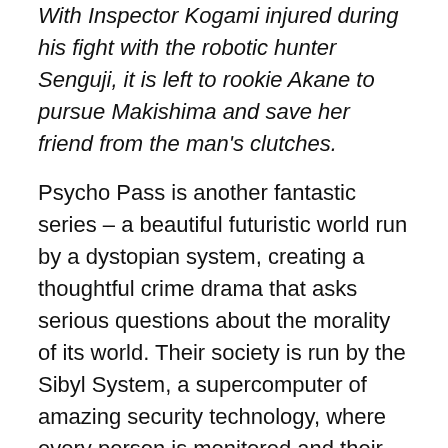With Inspector Kogami injured during his fight with the robotic hunter Senguji, it is left to rookie Akane to pursue Makishima and save her friend from the man's clutches.
Psycho Pass is another fantastic series – a beautiful futuristic world run by a dystopian system, creating a thoughtful crime drama that asks serious questions about the morality of its world. Their society is run by the Sibyl System, a supercomputer of amazing security technology, where every person is monitored and their mental state assessed. Criminals are found by their Crime Coefficient, meaning that police are almost able to capture criminals before they commit crimes based on their mental health.
The beginning of the series predominantly follows Akane and the others chasing down maniacs across the cyber-city, which helps to make Makishima one of the most engaging villains in any anime series, with his sense of